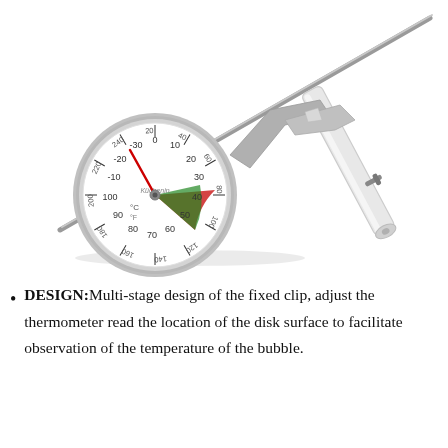[Figure (photo): A stainless steel dial thermometer with a round face showing both Celsius and Fahrenheit scales, a red needle indicator, a metal clip attachment, and a long probe stem. Next to it is a separate white protective sheath/sleeve with a metal clip. The thermometer probe and clip are shown disassembled.]
DESIGN:Multi-stage design of the fixed clip, adjust the thermometer read the location of the disk surface to facilitate observation of the temperature of the bubble.